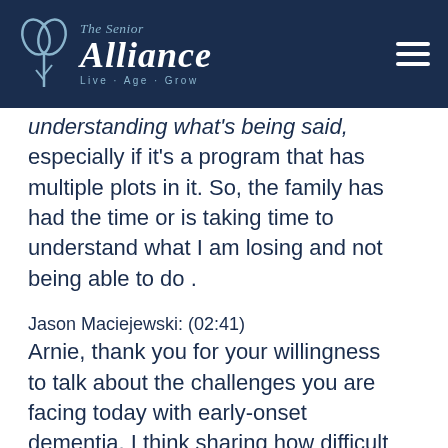[Figure (logo): The Senior Alliance logo with leaf/heart icon, text 'The Senior Alliance' and tagline 'Live-Age-Grow' on dark navy background, with hamburger menu icon on the right]
understanding what's being said, especially if it's a program that has multiple plots in it. So, the family has had the time or is taking time to understand what I am losing and not being able to do .
Jason Maciejewski: (02:41)
Arnie, thank you for your willingness to talk about the challenges you are facing today with early-onset dementia. I think sharing how difficult it is to understand and adapt to the